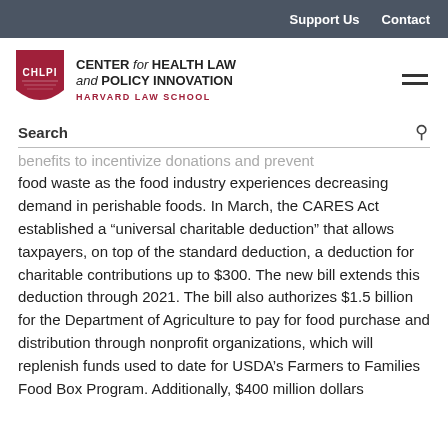Support Us   Contact
[Figure (logo): Center for Health Law and Policy Innovation, Harvard Law School logo with CHLPI shield]
Search
benefits to incentivize donations and prevent food waste as the food industry experiences decreasing demand in perishable foods. In March, the CARES Act established a "universal charitable deduction" that allows taxpayers, on top of the standard deduction, a deduction for charitable contributions up to $300. The new bill extends this deduction through 2021. The bill also authorizes $1.5 billion for the Department of Agriculture to pay for food purchase and distribution through nonprofit organizations, which will replenish funds used to date for USDA's Farmers to Families Food Box Program. Additionally, $400 million dollars